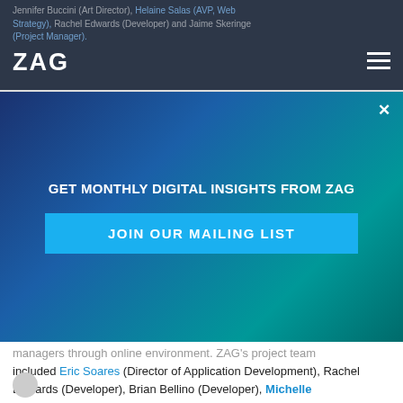Jennifer Buccini (Art Director), Helaine Salas (AVP, Web Strategy), Rachel Edwards (Developer) and Jaime Skeringe (Project Manager).
[Figure (logo): ZAG logo in white text on dark navy header bar]
[Figure (infographic): Modal overlay with gradient blue-teal background. Title: GET MONTHLY DIGITAL INSIGHTS FROM ZAG. Blue button: JOIN OUR MAILING LIST. Close X button top right.]
managers through online environment. ZAG's project team included Eric Soares (Director of Application Development), Rachel Edwards (Developer), Brian Bellino (Developer), Michelle Brown (Director of Marketing), and Melissa Wilkinson (Designer). Many thanks to the WebAwards judges for recognizing our work.
To contact ZAG Interactive about a website design, development or marketing project, contact us.